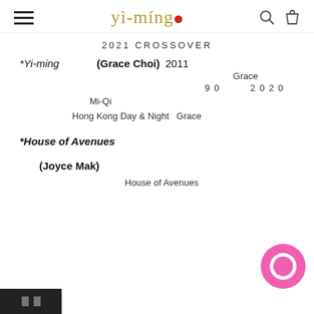yi-ming 2021 CROSSOVER
*Yi-ming (Grace Choi) 2011
Grace
90 2020
Mi-Qi
Hong Kong Day & Night Grace
*House of Avenues
(Joyce Mak)
House of Avenues